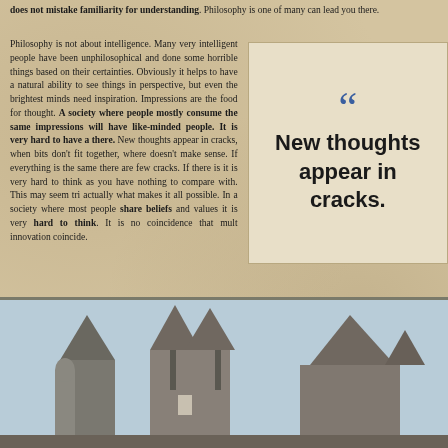does not mistake familiarity for understanding. Philosophy is one of many can lead you there.
Philosophy is not about intelligence. Many very intelligent people have been unphilosophical and done some horrible things based on their certainties. Obviously it helps to have a natural ability to see things in perspective, but even the brightest minds need inspiration. Impressions are the food for thought. A society where people mostly consume the same impressions will have like-minded people. It is very hard to have a there. New thoughts appear in cracks, when bits don’t fit together, where doesn’t make sense. If everything is the same there are few cracks. If there is it is very hard to think as you have nothing to compare with. This may seem tri actually what makes it all possible. In a society where most people share beliefs and values it is very hard to think. It is no coincidence that mult innovation coincide.
[Figure (other): Pull quote with quotation mark: 'New thoughts appear in cracks.']
[Figure (photo): Photograph of historic European castle or chateau buildings with pointed Gothic spires against a light sky.]